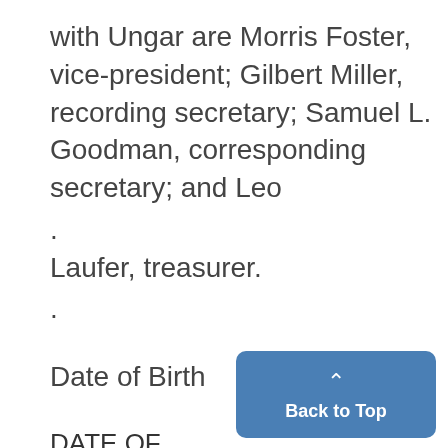with Ungar are Morris Foster, vice-president; Gilbert Miller, recording secretary; Samuel L. Goodman, corresponding secretary; and Leo
.
Laufer, treasurer.
.
Date of Birth
DATE OF BIRTH
NO. OF